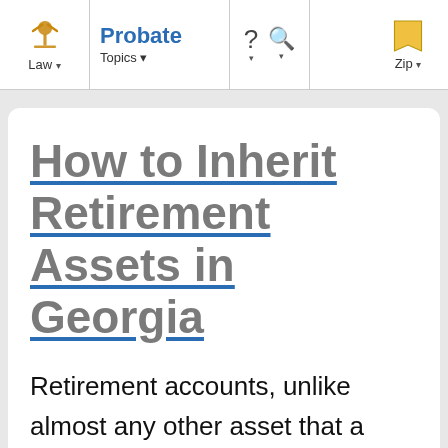Law | Probate Topics | ? | Search | Zip
How to Inherit Retirement Assets in Georgia
Retirement accounts, unlike almost any other asset that a person can inherit, are subject to income tax. That means that if you inherit an IRA or a 401(k), when you